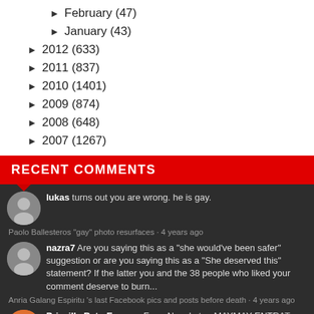February (47)
January (43)
2012 (633)
2011 (837)
2010 (1401)
2009 (874)
2008 (648)
2007 (1267)
RECENT COMMENTS
lukas turns out you are wrong. he is gay.
Paolo Ballesteros "gay" photo resurfaces · 4 years ago
nazra7 Are you saying this as a "she would've been safer" suggestion or are you saying this as a "She deserved this" statement? If the latter you and the 38 people who liked your comment deserve to burn...
Anria Galang Espiritu 's last Facebook pics and posts before death · 4 years ago
Priscilla Bato Escama For a Neophyte...MAYMAY ENTRATA episode being Ranked 13, and fitted against the More Veteran Actors/Actresses...WOW na Wow na yan.....GO for More Maymay...Shared